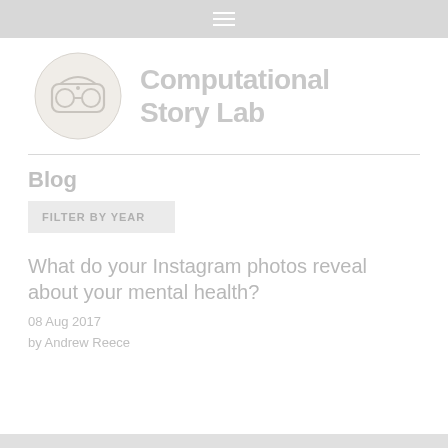≡
[Figure (logo): Computational Story Lab logo — circular emblem with VR headset illustration and text 'Computational Story Lab']
Blog
FILTER BY YEAR
What do your Instagram photos reveal about your mental health?
08 Aug 2017
by Andrew Reece